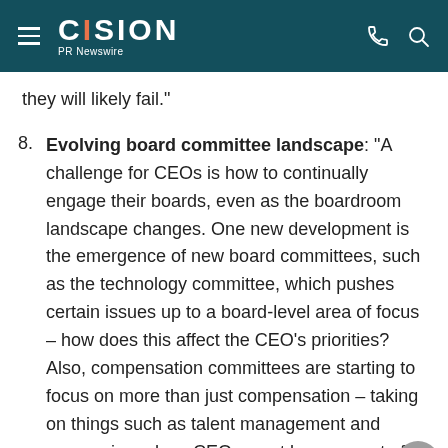CISION PR Newswire
they will likely fail."
8. Evolving board committee landscape: "A challenge for CEOs is how to continually engage their boards, even as the boardroom landscape changes. One new development is the emergence of new board committees, such as the technology committee, which pushes certain issues up to a board-level area of focus – how does this affect the CEO's priorities? Also, compensation committees are starting to focus on more than just compensation – taking on things such as talent management and [succession/how CEOs must be an agent of...]